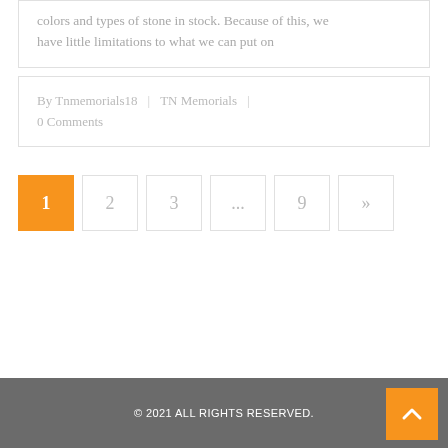colors and types of stone in stock. Because of this, we have little limitations to what we can put on
By Tnmemorials18 | TN Memorials | 0 Comments
1  2  3  ...  9  »
© 2021 ALL RIGHTS RESERVED.